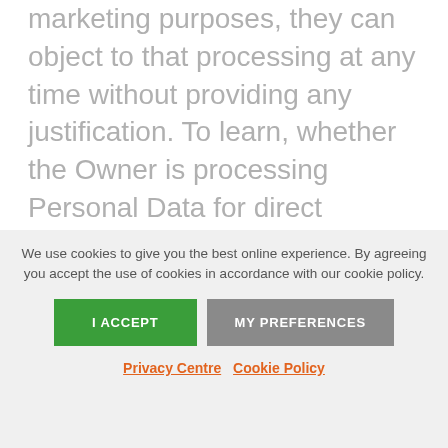marketing purposes, they can object to that processing at any time without providing any justification. To learn, whether the Owner is processing Personal Data for direct marketing purposes, Users may refer to the relevant sections of this document.
How To Exercise These Rights
We use cookies to give you the best online experience. By agreeing you accept the use of cookies in accordance with our cookie policy.
I ACCEPT   MY PREFERENCES
Privacy Centre   Cookie Policy